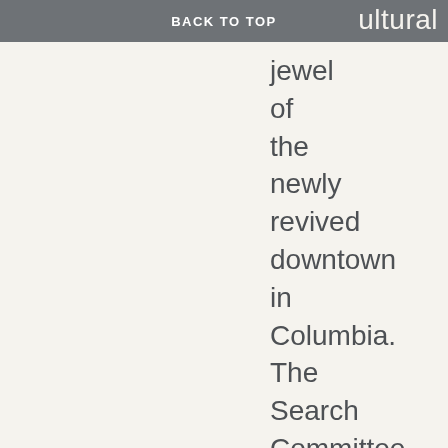BACK TO TOP
cultural jewel of the newly revived downtown in Columbia. The Search Committee was ready